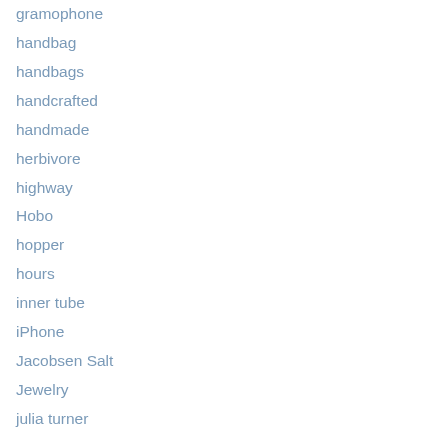gramophone
handbag
handbags
handcrafted
handmade
herbivore
highway
Hobo
hopper
hours
inner tube
iPhone
Jacobsen Salt
Jewelry
julia turner